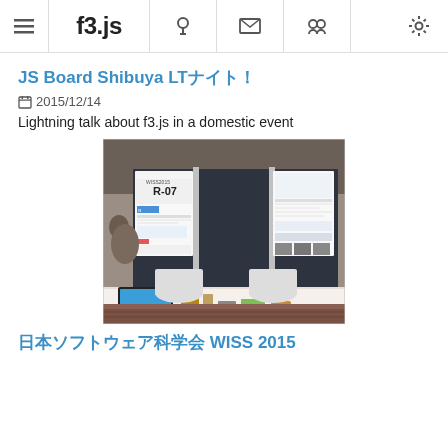f3.js
JS Board Shibuya LTナイト！
2015/12/14
Lightning talk about f3.js in a domestic event
[Figure (photo): Exhibition booth photo showing display boards labeled R-07 with posters about f3.js, a table with a laptop and various items, chairs in front, taken at an indoor event venue.]
日本ソフトウェア科学会 WISS 2015